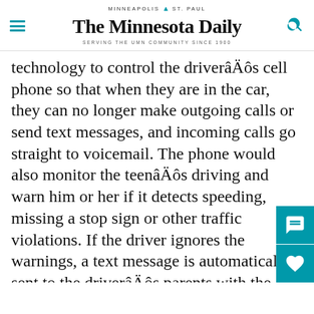MINNEAPOLIS | ST. PAUL
THE MINNESOTA DAILY
SERVING THE UMN COMMUNITY SINCE 1900
technology to control the driverâÄôs cell phone so that when they are in the car, they can no longer make outgoing calls or send text messages, and incoming calls go straight to voicemail. The phone would also monitor the teenâÄôs driving and warn him or her if it detects speeding, missing a stop sign or other traffic violations. If the driver ignores the warnings, a text message is automatically sent to the driverâÄôs parents with the offense and location. The system has the ability to detect the number of passengers in the vehicle and wonâÄôt allow it to start unless everyone is buckled in. Under Minnesota law, teen drivers can have no more than one passenger under the age of 20 during the first six months they have their lice